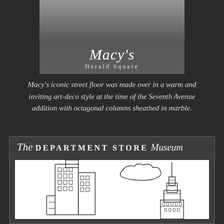[Figure (photo): Black and white photo of Macy's Herald Square store exterior with overlay text showing 'Macy's' and 'Herald Square']
Macy's iconic street floor was made over in a warm and inviting art-deco style at the time of the Seventh Avenue addition with octagonal columns sheathed in marble.
[Figure (illustration): Logo banner reading 'The DEPARTMENT STORE Museum' with a line drawing illustration of New York City buildings including the Empire State Building]
[Figure (illustration): Line drawing sketch of New York City skyline showing tall buildings and the Empire State Building with a cloud]